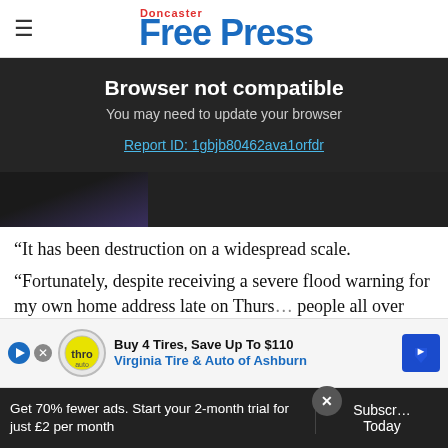Doncaster Free Press
Browser not compatible
You may need to update your browser
Report ID: 1gbjb80462ava1orfdr
[Figure (photo): Partial dark photo of a person, cut off at bottom of image strip]
“It has been destruction on a widespread scale.
“Fortunately, despite receiving a severe flood warning for my own home address late on Thursday… people all over South Yorkshire have to endur…
[Figure (other): Advertisement: Buy 4 Tires, Save Up To $110 - Virginia Tire & Auto of Ashburn]
Get 70% fewer ads. Start your 2-month trial for just £2 per month | Subscribe Today